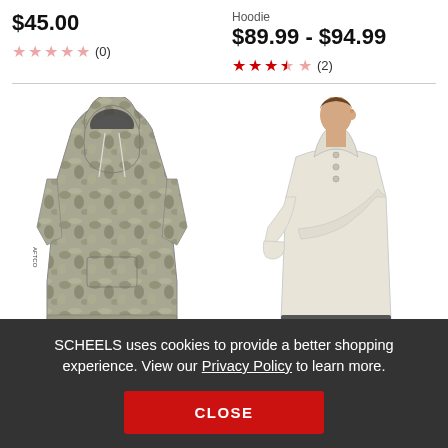$45.00
Hoodie
$89.99 - $94.99
☆☆☆☆☆ (0)
★★★½☆ (2)
[Figure (photo): Camo fishing hoodie with face mask, gray/tan camouflage pattern]
[Figure (photo): Woman wearing cream/white quarter-snap fleece pullover with arms crossed]
SCHEELS uses cookies to provide a better shopping experience. View our Privacy Policy to learn more.
CLOSE